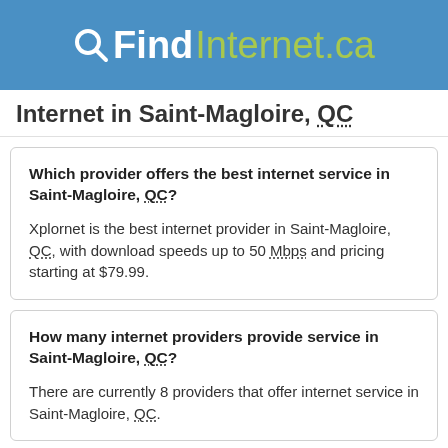QFindInternet.ca
Internet in Saint-Magloire, QC
Which provider offers the best internet service in Saint-Magloire, QC?
Xplornet is the best internet provider in Saint-Magloire, QC, with download speeds up to 50 Mbps and pricing starting at $79.99.
How many internet providers provide service in Saint-Magloire, QC?
There are currently 8 providers that offer internet service in Saint-Magloire, QC.